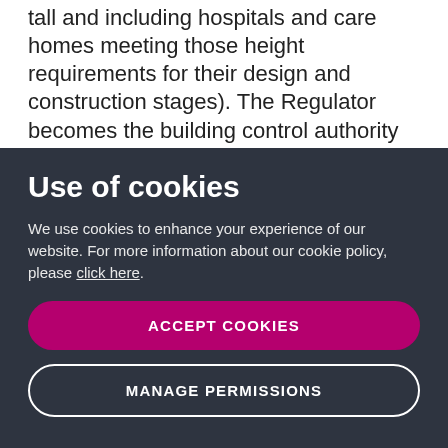tall and including hospitals and care homes meeting those height requirements for their design and construction stages). The Regulator becomes the building control authority for all higher-risk buildings and will establish and supervise a new building safety inspectorate.
Use of cookies
We use cookies to enhance your experience of our website. For more information about our cookie policy, please click here.
ACCEPT COOKIES
MANAGE PERMISSIONS